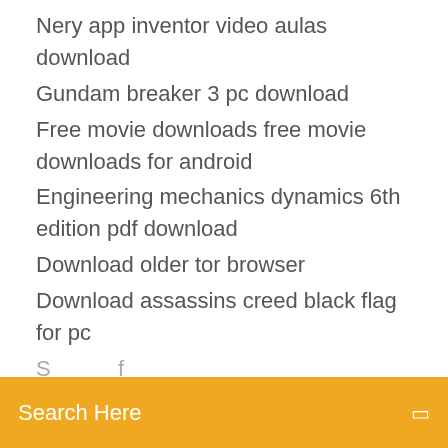Nery app inventor video aulas download
Gundam breaker 3 pc download
Free movie downloads free movie downloads for android
Engineering mechanics dynamics 6th edition pdf download
Download older tor browser
Download assassins creed black flag for pc
(partially visible item)
Search Here
All Versions. Note that the downloads in the list below are for getting a specific version of Forge. Unless you need this, prefer the links to latest and recommended builds above instead.
[Figure (other): Social media icons: Facebook (f), Twitter bird, Dribbble circle, Behance (Be)]
Minecraft Cracked Launcher FREE. Auto-Updater, Multiplayer, OptiFine. This Launcher Supports all